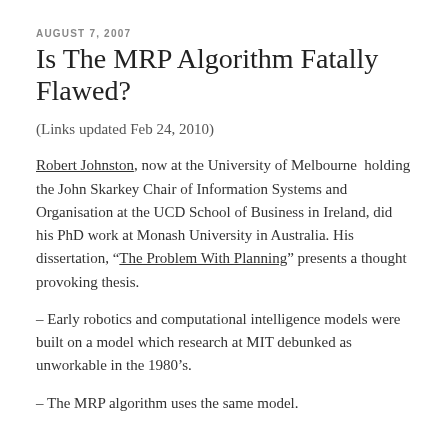AUGUST 7, 2007
Is The MRP Algorithm Fatally Flawed?
(Links updated Feb 24, 2010)
Robert Johnston, now at the University of Melbourne holding the John Skarkey Chair of Information Systems and Organisation at the UCD School of Business in Ireland, did his PhD work at Monash University in Australia. His dissertation, “The Problem With Planning” presents a thought provoking thesis.
– Early robotics and computational intelligence models were built on a model which research at MIT debunked as unworkable in the 1980’s.
– The MRP algorithm uses the same model.